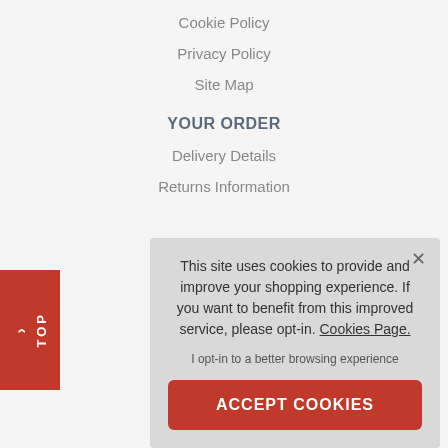Cookie Policy
Privacy Policy
Site Map
YOUR ORDER
Delivery Details
Returns Information
This site uses cookies to provide and improve your shopping experience. If you want to benefit from this improved service, please opt-in. Cookies Page.
I opt-in to a better browsing experience
ACCEPT COOKIES